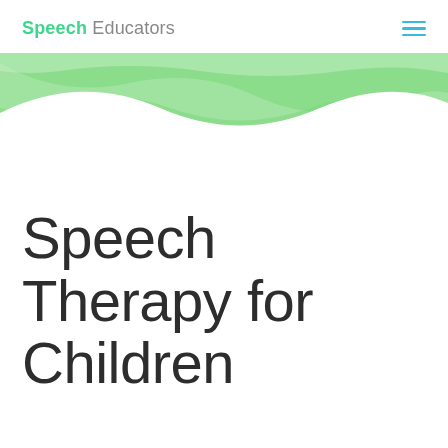Speech Educators
[Figure (illustration): Green wave/ribbon decorative banner across the top of the page content area, with layered translucent green waves on a white background.]
Speech Therapy for Children